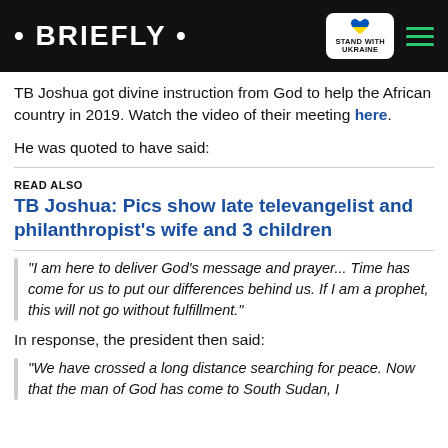• BRIEFLY •
TB Joshua got divine instruction from God to help the African country in 2019. Watch the video of their meeting here.
He was quoted to have said:
READ ALSO
TB Joshua: Pics show late televangelist and philanthropist's wife and 3 children
“I am here to deliver God’s message and prayer... Time has come for us to put our differences behind us. If I am a prophet, this will not go without fulfillment.”
In response, the president then said:
“We have crossed a long distance searching for peace. Now that the man of God has come to South Sudan, I